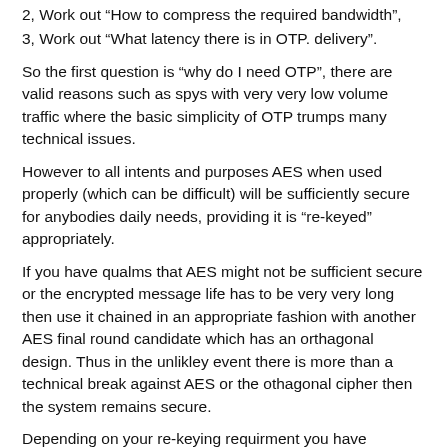2, Work out “How to compress the required bandwidth”,
3, Work out “What latency there is in OTP. delivery”.
So the first question is “why do I need OTP”, there are valid reasons such as spys with very very low volume traffic where the basic simplicity of OTP trumps many technical issues.
However to all intents and purposes AES when used properly (which can be difficult) will be sufficiently secure for anybodies daily needs, providing it is “re-keyed” appropriately.
If you have qualms that AES might not be sufficient secure or the encrypted message life has to be very very long then use it chained in an appropriate fashion with another AES final round candidate which has an orthagonal design. Thus in the unlikley event there is more than a technical break against AES or the othagonal cipher then the system remains secure.
Depending on your re-keying requirment you have reduced your communications bandwidth down to a fraction of that you would other wise require with just OTP.